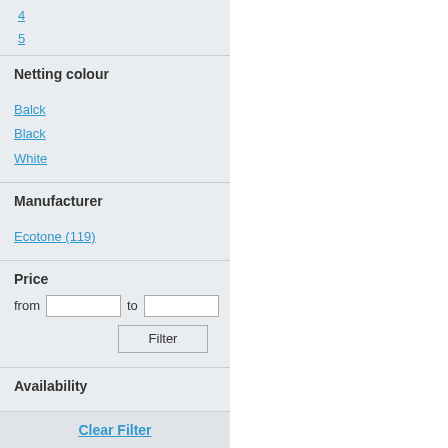4
5
Netting colour
Balck
Black
White
Manufacturer
Ecotone (119)
Price
from [input] to [input]
Filter
Availability
Only available
Clear Filter